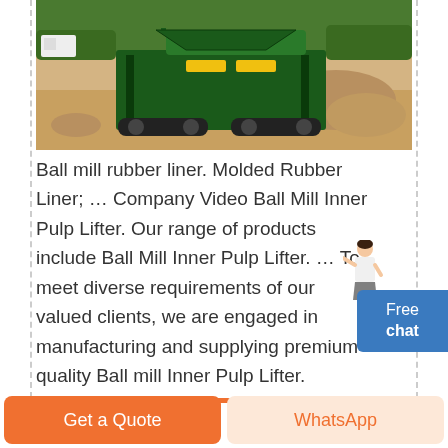[Figure (photo): Green tracked crushing/screening machine on a gravel/dirt surface with rocks and sand piles in background]
Ball mill rubber liner. Molded Rubber Liner; … Company Video Ball Mill Inner Pulp Lifter. Our range of products include Ball Mill Inner Pulp Lifter. … To meet diverse requirements of our valued clients, we are engaged in manufacturing and supplying premium quality Ball mill Inner Pulp Lifter.
[Figure (illustration): Female customer service representative figure pointing toward a blue Free chat button]
Free chat